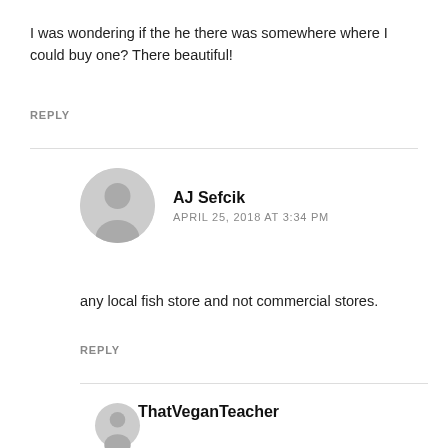I was wondering if the he there was somewhere where I could buy one? There beautiful!
REPLY
AJ Sefcik
APRIL 25, 2018 AT 3:34 PM
any local fish store and not commercial stores.
REPLY
ThatVeganTeacher